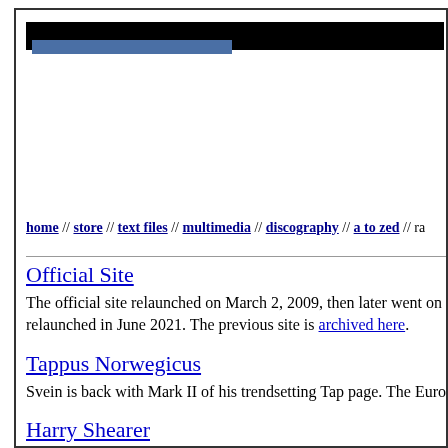home // store // text files // multimedia // discography // a to zed // ra
Official Site
The official site relaunched on March 2, 2009, then later went on relaunched in June 2021. The previous site is archived here.
Tappus Norwegicus
Svein is back with Mark II of his trendsetting Tap page. The Euro
Harry Shearer
Loads of material devoted to Derek Smalls.
Other fan sites: